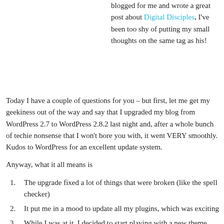blogged for me and wrote a great post about Digital Disciples, I've been too shy of putting my small thoughts on the same tag as his!
Today I have a couple of questions for you – but first, let me get my geekiness out of the way and say that I upgraded my blog from WordPress 2.7 to WordPress 2.8.2 last night and, after a whole bunch of techie nonsense that I won't bore you with, it went VERY smoothly. Kudos to WordPress for an excellent update system.
Anyway, what it all means is
The upgrade fixed a lot of things that were broken (like the spell checker)
It put me in a mood to update all my plugins, which was exciting
While I was at it, I decided to start playing with a new theme.
So.. My questions to you are:
What do you think of the new theme? What do you like? What